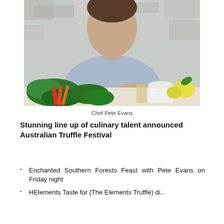[Figure (photo): Chef Pete Evans seated at a table with fresh vegetables including leafy greens and colourful chard stems, with a bowl and glass visible, wearing a light blue t-shirt, arms crossed, with a rustic white brick wall background.]
Chef Pete Evans
Stunning line up of culinary talent announced Australian Truffle Festival
Enchanted Southern Forests Feast with Pete Evans on Friday night
HElements Taste for (The Elements Truffle) di...